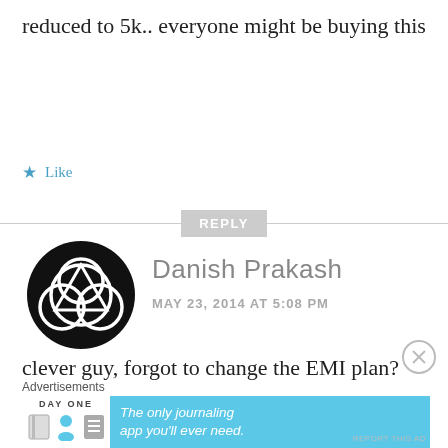reduced to 5k.. everyone might be buying this
★ Like
REPLY
Danish Prakash
MAY 23, 2014 AT 5:08 PM
clever guy, forgot to change the EMI plan?
Advertisements
[Figure (other): Day One journaling app advertisement banner with icons and text: The only journaling app you'll ever need.]